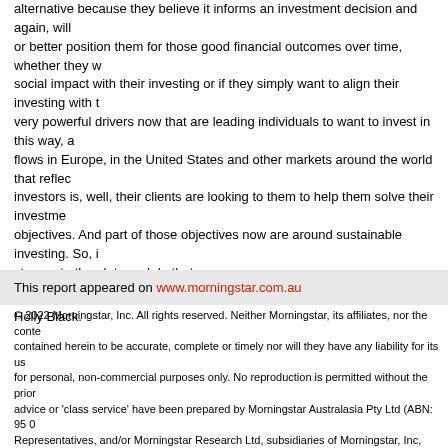alternative because they believe it informs an investment decision and again, will or better position them for those good financial outcomes over time, whether they want social impact with their investing or if they simply want to align their investing with their very powerful drivers now that are leading individuals to want to invest in this way, and flows in Europe, in the United States and other markets around the world that reflect investors is, well, their clients are looking to them to help them solve their investment objectives. And part of those objectives now are around sustainable investing. So, i step up to the plate and do that.
Black: Michael, thank you so much for your time. For Morningstar, I'm Holly Black.
This report appeared on www.morningstar.com.au
© 2022 Morningstar, Inc. All rights reserved. Neither Morningstar, its affiliates, nor the conte contained herein to be accurate, complete or timely nor will they have any liability for its us for personal, non-commercial purposes only. No reproduction is permitted without the prior advice or 'class service' have been prepared by Morningstar Australasia Pty Ltd (ABN: 95 0 Representatives, and/or Morningstar Research Ltd, subsidiaries of Morningstar, Inc, withou situation or needs. Please refer to our Financial Services Guide (FSG) for more information publications, ratings and products should be viewed as an additional investment resource, performance does not necessarily indicate a financial product's future performance. To obta licensed financial adviser. Some material is copyright and published under licence from AS ("ASXO"). The article is current as at date of publication.